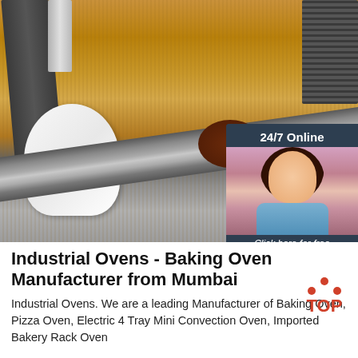[Figure (photo): Kitchen tools including spatulas and a white spoon on a wooden surface, with a dark bowl containing spices in the background. A chat widget is overlaid on the right side showing a customer service representative, '24/7 Online' text, 'Click here for free chat!' text, and an orange 'QUOTATION' button.]
Industrial Ovens - Baking Oven Manufacturer from Mumbai
Industrial Ovens. We are a leading Manufacturer of Baking Oven, Pizza Oven, Electric 4 Tray Mini Convection Oven, Imported Bakery Rack Oven